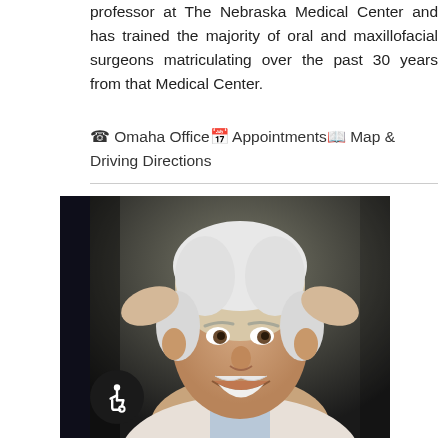professor at The Nebraska Medical Center and has trained the majority of oral and maxillofacial surgeons matriculating over the past 30 years from that Medical Center.
☎ Omaha Office 📅 Appointments 🗺 Map & Driving Directions
[Figure (photo): Portrait photo of an elderly man with white hair and white mustache, smiling broadly with hands behind his head, wearing a light-colored sweater and striped collared shirt]